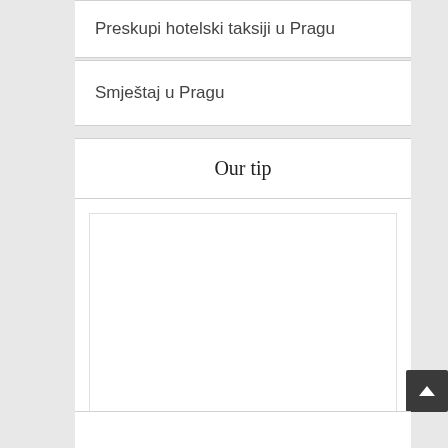Preskupi hotelski taksiji u Pragu
Smještaj u Pragu
Our tip
[Figure (other): Empty white content box within the Our tip section]